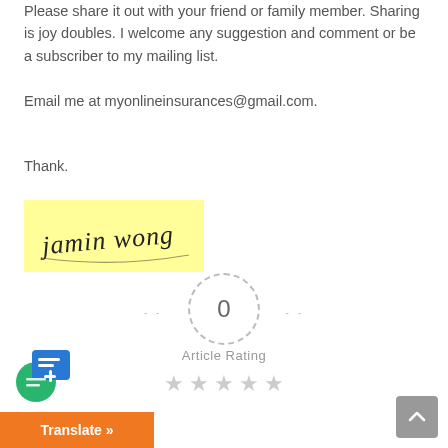Please share it out with your friend or family member. Sharing is joy doubles. I welcome any suggestion and comment or be a subscriber to my mailing list.
Email me at myonlineinsurances@gmail.com.
Thank.
[Figure (illustration): Handwritten signature 'jamin wong' on a yellow background]
[Figure (infographic): Article rating widget showing 0 rating with dashed circle, dashes on either side, 'Article Rating' label, and 5 empty grey stars below]
[Figure (screenshot): Translate button in orange with white text 'Translate »' and translation app icon above it, plus a grey scroll-to-top button in bottom right]